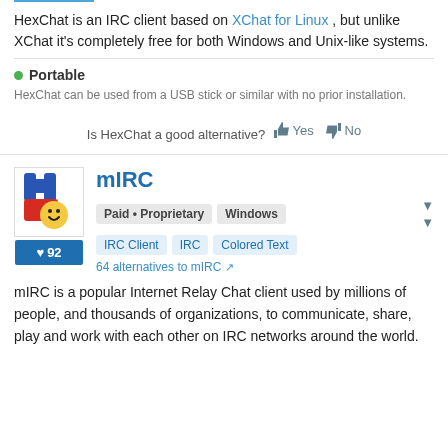HexChat is an IRC client based on XChat for Linux , but unlike XChat it's completely free for both Windows and Unix-like systems.
Portable
HexChat can be used from a USB stick or similar with no prior installation.
Is HexChat a good alternative? Yes No
mIRC
Paid • Proprietary   Windows   IRC Client   IRC   Colored Text
64 alternatives to mIRC
mIRC is a popular Internet Relay Chat client used by millions of people, and thousands of organizations, to communicate, share, play and work with each other on IRC networks around the world.